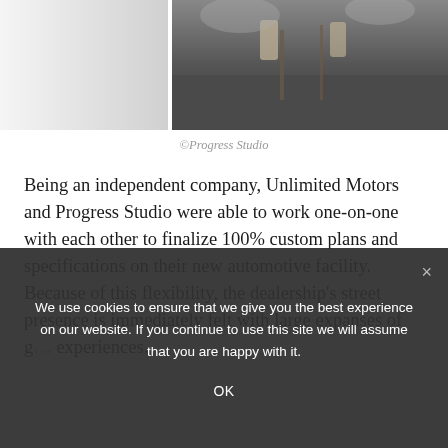[Figure (photo): Interior photo of a modern automotive facility/showroom, split into two panels: left panel shows a light-colored partial view, right panel shows a darker interior scene with chairs and tables on a gray floor.]
©Progress Studio
Being an independent company, Unlimited Motors and Progress Studio were able to work one-on-one with each other to finalize 100% custom plans and specifications on their new automotive facility. Because of this flexibility, the dealership's street presence is immediately felt with large expanses of g... experiences.
We use cookies to ensure that we give you the best experience on our website. If you continue to use this site we will assume that you are happy with it.
OK